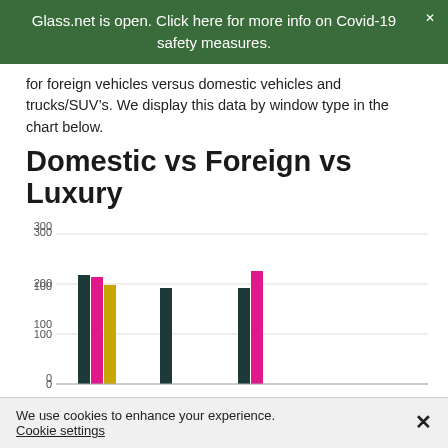Glass.net is open. Click here for more info on Covid-19 safety measures.
for foreign vehicles versus domestic vehicles and trucks/SUV’s. We display this data by window type in the chart below.
Domestic vs Foreign vs Luxury
[Figure (grouped-bar-chart): Domestic vs Foreign vs Luxury]
We use cookies to enhance your experience.
Cookie settings